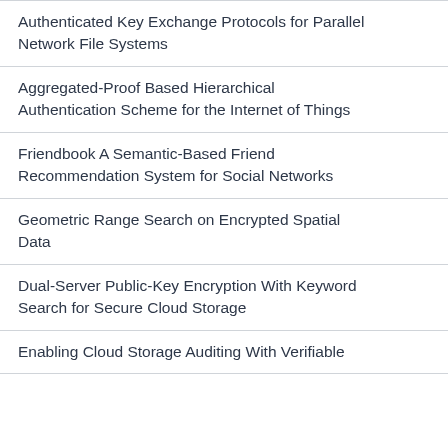Authenticated Key Exchange Protocols for Parallel Network File Systems
Aggregated-Proof Based Hierarchical Authentication Scheme for the Internet of Things
Friendbook A Semantic-Based Friend Recommendation System for Social Networks
Geometric Range Search on Encrypted Spatial Data
Dual-Server Public-Key Encryption With Keyword Search for Secure Cloud Storage
Enabling Cloud Storage Auditing With Verifiable